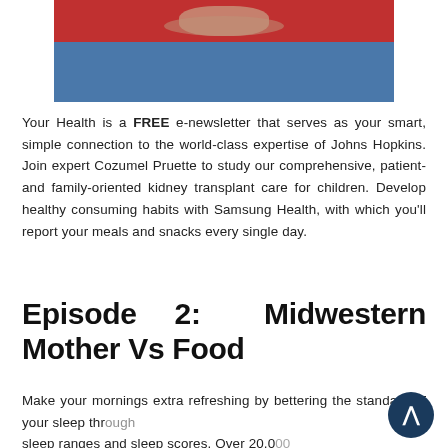[Figure (photo): Photo showing a person in a red top and blue jeans with hands placed on their abdomen/stomach area, cropped to show torso only.]
Your Health is a FREE e-newsletter that serves as your smart, simple connection to the world-class expertise of Johns Hopkins. Join expert Cozumel Pruette to study our comprehensive, patient- and family-oriented kidney transplant care for children. Develop healthy consuming habits with Samsung Health, with which you'll report your meals and snacks every single day.
Episode 2: Midwestern Mother Vs Food
Make your mornings extra refreshing by bettering the standard of your sleep through sleep ranges and sleep scores. Over 20,000